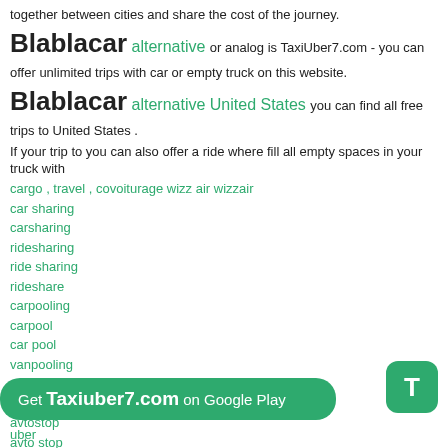together between cities and share the cost of the journey.
Blablacar alternative or analog is TaxiUber7.com - you can offer unlimited trips with car or empty truck on this website.
Blablacar alternative United States you can find all free trips to United States .
If your trip to you can also offer a ride where fill all empty spaces in your truck with
cargo , travel , covoiturage wizz air wizzair
car sharing
carsharing
ridesharing
ride sharing
rideshare
carpooling
carpool
car pool
vanpooling
autostop
auto stop
avtostop
avto stop
taxi 2022 Indriver 2022 poparide
Get Taxiuber7.com on Google Play
uber